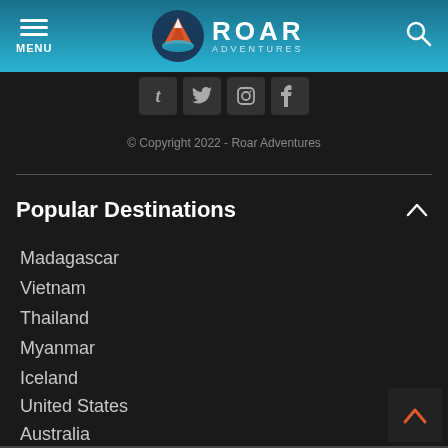ROAR ADVENTURES
[Figure (logo): Roar Adventures logo with mountain/wave icon and ROAR ADVENTURES text]
© Copyright 2022 - Roar Adventures
Popular Destinations
Madagascar
Vietnam
Thailand
Myanmar
Iceland
United States
Australia
New Zealand